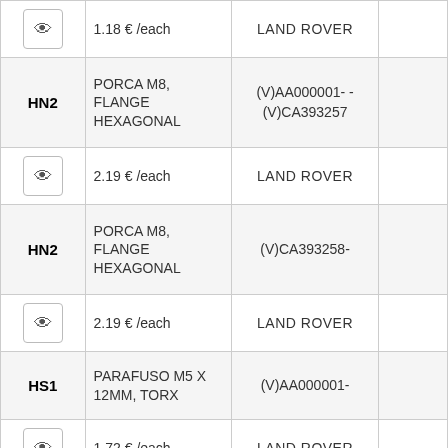| Code | Description | Range |  |
| --- | --- | --- | --- |
|  | 1.18 € /each | LAND ROVER |  |
| HN2 | PORCA M8, FLANGE HEXAGONAL | (V)AA000001- - (V)CA393257 |  |
|  | 2.19 € /each | LAND ROVER |  |
| HN2 | PORCA M8, FLANGE HEXAGONAL | (V)CA393258- |  |
|  | 2.19 € /each | LAND ROVER |  |
| HS1 | PARAFUSO M5 X 12MM, TORX | (V)AA000001- |  |
|  | 1.72 € /each | LAND ROVER |  |
| HS2 | PARAFUSO M6 X 16MM | (V)AA000001- |  |